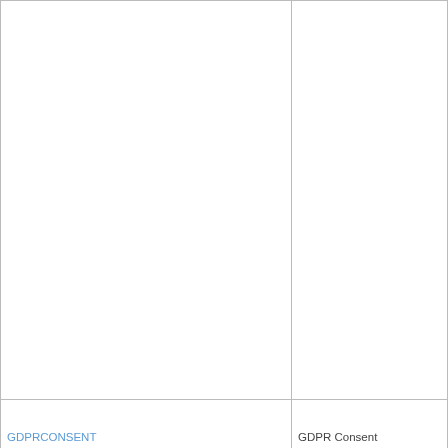|  |  |
| --- | --- |
|  |  |
| GDPRCONSENT | GDPR Consent |